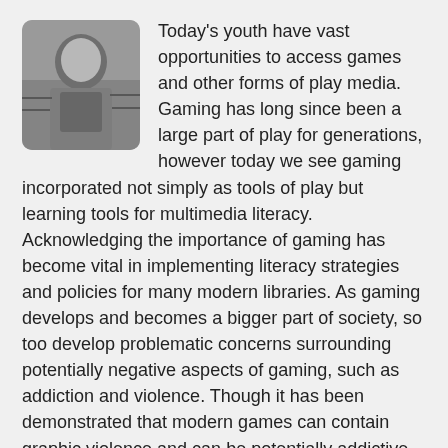[Figure (photo): Grayscale portrait photo of a person (appears to be a man) in a rounded rectangle frame, positioned at top left.]
Today's youth have vast opportunities to access games and other forms of play media. Gaming has long since been a large part of play for generations, however today we see gaming incorporated not simply as tools of play but learning tools for multimedia literacy. Acknowledging the importance of gaming has become vital in implementing literacy strategies and policies for many modern libraries. As gaming develops and becomes a bigger part of society, so too develop problematic concerns surrounding potentially negative aspects of gaming, such as addiction and violence. Though it has been demonstrated that modern games can contain graphic violence and can be potentially addictive, it has also been demonstrated that these issues pale in comparison to the benefits of gaming as promotion for literacy.
Gaming has been present and a part of library culture for quite some time. In the past libraries in the UK installed